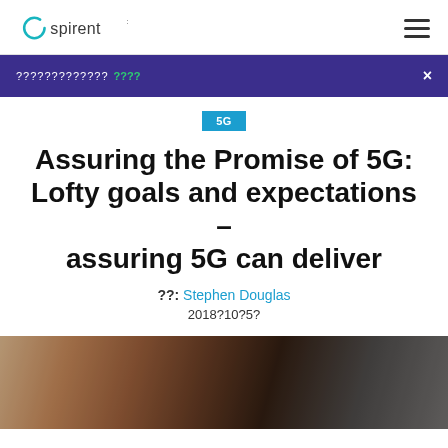Spirent [logo]
????????????? ???? ×
5G
Assuring the Promise of 5G: Lofty goals and expectations – assuring 5G can deliver
??: Stephen Douglas
2018?10?5?
[Figure (photo): A person wearing glasses looking at a screen, partially visible, warm tones]